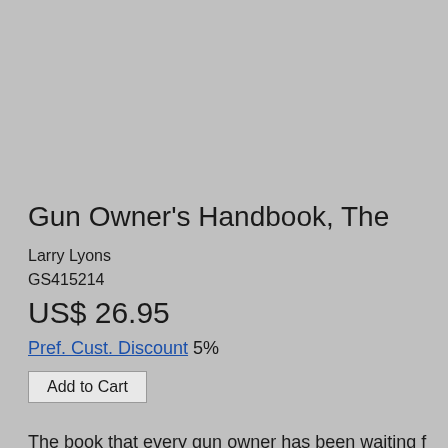Gun Owner's Handbook, The
Larry Lyons
GS415214
US$ 26.95
Pref. Cust. Discount 5%
Add to Cart
The book that every gun owner has been waiting f its owner, and far too many are poorly maintained